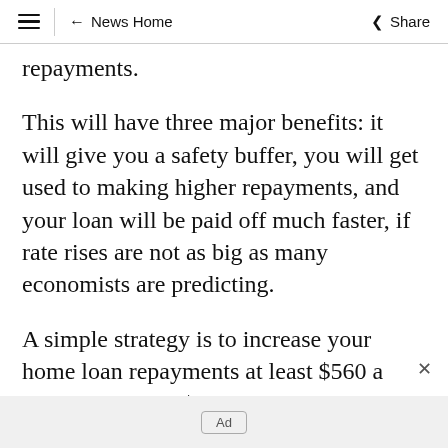≡  ← News Home  Share
repayments.
This will have three major benefits: it will give you a safety buffer, you will get used to making higher repayments, and your loan will be paid off much faster, if rate rises are not as big as many economists are predicting.
A simple strategy is to increase your home loan repayments at least $560 a month for every $100,000 borrowed, or $2240 a month for a
Ad